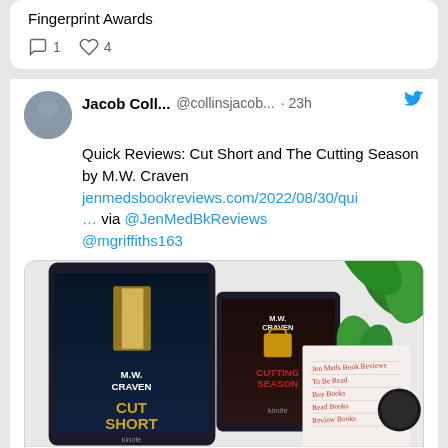Fingerprint Awards
1  4
Jacob Coll... @collinsjacob... · 23h
Quick Reviews: Cut Short and The Cutting Season by M.W. Craven jenmedsbookreviews.com/2022/08/30/qui … via @JenMedBkReviews @mgriffiths163
[Figure (photo): Two Kindle e-readers displaying M.W. Craven book covers: Cut Short and The Cutting Season, alongside a plant and notebook on a white background]
jenmedsbookreviews.com
Quick Reviews: Cut Short and The Cutting Season by M.W. Craven